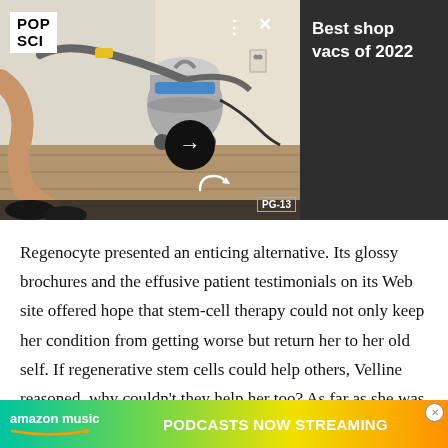[Figure (screenshot): Web browser screenshot showing a media player/carousel with a shop vac image on the left, POP SCI logo, playback controls (dots, X), a right arrow button, and a dark right panel with text 'Best shop vacs of 2022'. A PG-13 badge appears at the bottom right of the video area.]
Regenocyte presented an enticing alternative. Its glossy brochures and the effusive patient testimonials on its Web site offered hope that stem-cell therapy could not only keep her condition from getting worse but return her to her old self. If regenerative stem cells could help others, Velline reasoned, why couldn't they help her too? As far as she was concerned, waiting [text obscured by ad] al seal
[Figure (screenshot): Amazon Music advertisement banner with gradient green-yellow-orange background, Amazon Music logo, text 'PODCASTS NOW STREAMING' in bold white capital letters. A small close (X) button appears in the top right corner.]